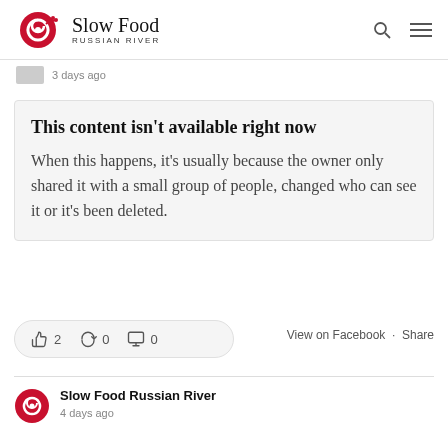Slow Food RUSSIAN RIVER
3 days ago
This content isn't available right now
When this happens, it's usually because the owner only shared it with a small group of people, changed who can see it or it's been deleted.
👍 2   🔁 0   💬 0    View on Facebook · Share
Slow Food Russian River
4 days ago